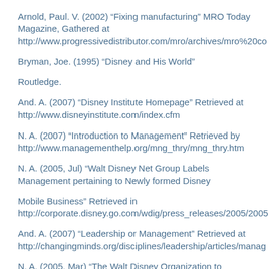Arnold, Paul. V. (2002) “Fixing manufacturing” MRO Today Magazine, Gathered at http://www.progressivedistributor.com/mro/archives/mro%20co
Bryman, Joe. (1995) “Disney and His World”
Routledge.
And. A. (2007) “Disney Institute Homepage” Retrieved at http://www.disneyinstitute.com/index.cfm
N. A. (2007) “Introduction to Management” Retrieved by http://www.managementhelp.org/mng_thry/mng_thry.htm
N. A. (2005, Jul) “Walt Disney Net Group Labels Management pertaining to Newly formed Disney
Mobile Business” Retrieved in http://corporate.disney.go.com/wdig/press_releases/2005/2005
And. A. (2007) “Leadership or Management” Retrieved at http://changingminds.org/disciplines/leadership/articles/manag
N. A. (2005, Mar) “The Walt Disney Organization to